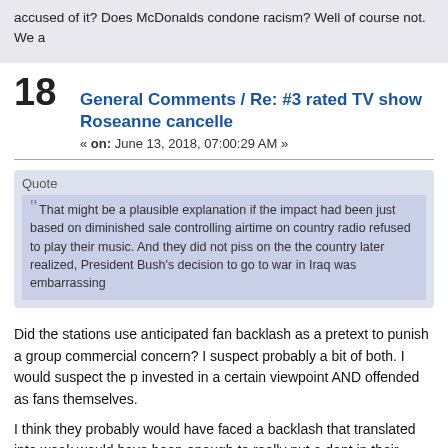accused of it? Does McDonalds condone racism? Well of course not. We a
18  General Comments / Re: #3 rated TV show Roseanne cancelled
« on: June 13, 2018, 07:00:29 AM »
Quote
That might be a plausible explanation if the impact had been just based on diminished sales, controlling airtime on country radio refused to play their music. And they did not piss on the country later realized, President Bush's decision to go to war in Iraq was embarrassing
Did the stations use anticipated fan backlash as a pretext to punish a group for commercial concern? I suspect probably a bit of both. I would suspect the p invested in a certain viewpoint AND offended as fans themselves.
I think they probably would have faced a backlash that translated into weak would have been enough to really put a dent in their bottom line, who know
Consumer boycotts are almost mythical, in the sense that everybody talks a that they actually happen. True consumer boycotts are rarer than unicorns.
Thanks to social media, never before in history have we witnessed so many
Personally, I'm not worried about celebrities like the Dixie Chicks or Rosear however fleeting, should be automatic justification for firing and blackballi